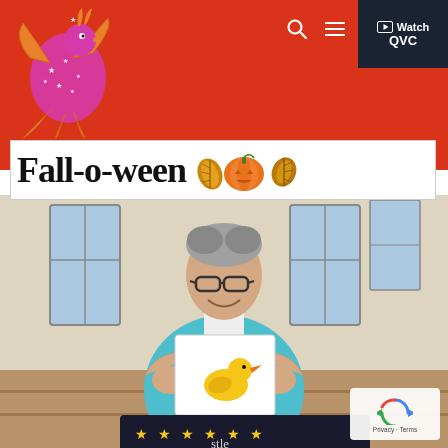[Figure (logo): QVC Phoenix/bird logo in orange and pink on red background, top left corner]
Watch QVC
Fall-o-ween 🍂🎃🍁
[Figure (photo): A smiling middle-aged man with gray hair and glasses, wearing a light blue vest over white shirt, holding up a card with a yellow rubber duck illustration. In front of him is a dark box with gold stars. Background shows a room with tall windows. Bottom of image shows partial text 'stle'.]
Privacy · Terms